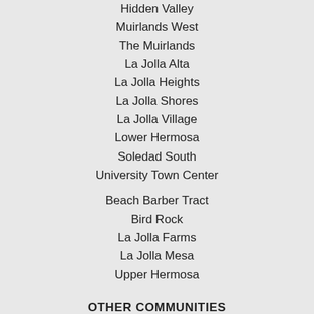Hidden Valley
Muirlands West
The Muirlands
La Jolla Alta
La Jolla Heights
La Jolla Shores
La Jolla Village
Lower Hermosa
Soledad South
University Town Center
Beach Barber Tract
Bird Rock
La Jolla Farms
La Jolla Mesa
Upper Hermosa
OTHER COMMUNITIES
Del Mar